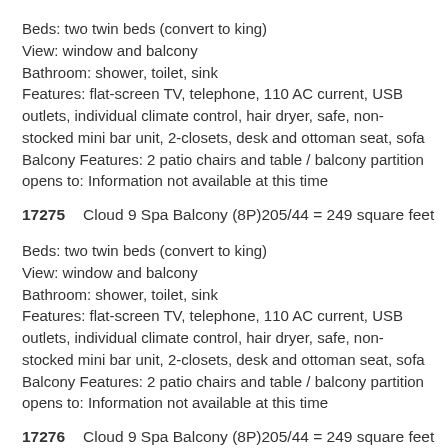Beds: two twin beds (convert to king)
View: window and balcony
Bathroom: shower, toilet, sink
Features: flat-screen TV, telephone, 110 AC current, USB outlets, individual climate control, hair dryer, safe, non-stocked mini bar unit, 2-closets, desk and ottoman seat, sofa
Balcony Features: 2 patio chairs and table / balcony partition opens to: Information not available at this time
17275    Cloud 9 Spa Balcony (8P)         205/44 = 249 square feet
Beds: two twin beds (convert to king)
View: window and balcony
Bathroom: shower, toilet, sink
Features: flat-screen TV, telephone, 110 AC current, USB outlets, individual climate control, hair dryer, safe, non-stocked mini bar unit, 2-closets, desk and ottoman seat, sofa
Balcony Features: 2 patio chairs and table / balcony partition opens to: Information not available at this time
17276    Cloud 9 Spa Balcony (8P)         205/44 = 249 square feet
Beds: two twin beds (convert to king)